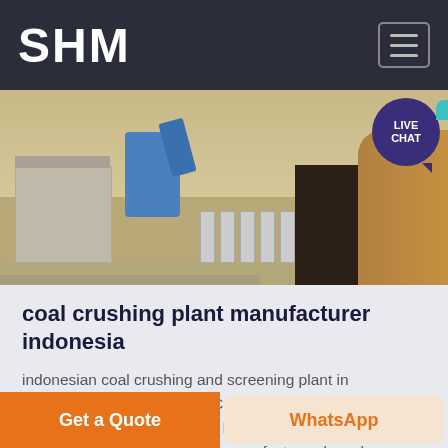SHM
[Figure (photo): Industrial coal crushing plant site with blue machinery, concrete cylinders, dark tunnel opening, and earthen terrain on the right side. LIVE CHAT bubble overlay in top right.]
coal crushing plant manufacturer indonesia
indonesian coal crushing and screening plant in indiaYouTube 16 Sep 2013 Coal crusher machine for sale in Indonesia can be supplied by a professional mining equipment and crusher parts manufactureral crusher